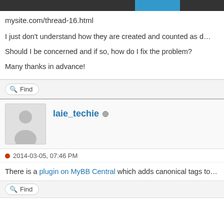mysite.com/thread-16.html
I just don't understand how they are created and counted as d…
Should I be concerned and if so, how do I fix the problem?
Many thanks in advance!
laie_techie
2014-03-05, 07:46 PM
There is a plugin on MyBB Central which adds canonical tags to…